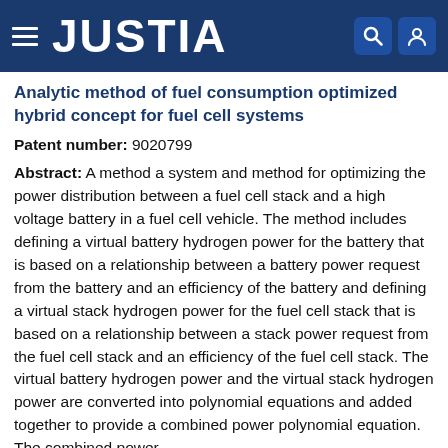JUSTIA
Analytic method of fuel consumption optimized hybrid concept for fuel cell systems
Patent number: 9020799
Abstract: A method a system and method for optimizing the power distribution between a fuel cell stack and a high voltage battery in a fuel cell vehicle. The method includes defining a virtual battery hydrogen power for the battery that is based on a relationship between a battery power request from the battery and an efficiency of the battery and defining a virtual stack hydrogen power for the fuel cell stack that is based on a relationship between a stack power request from the fuel cell stack and an efficiency of the fuel cell stack. The virtual battery hydrogen power and the virtual stack hydrogen power are converted into polynomial equations and added together to provide a combined power polynomial equation. The combined power